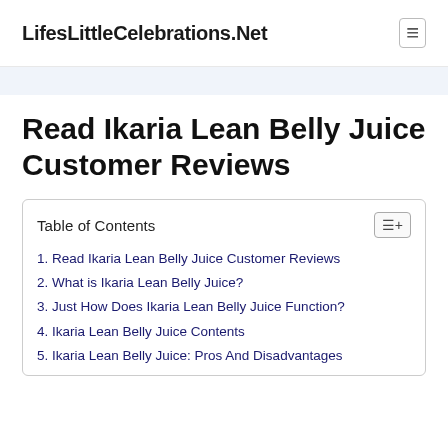LifesLittleCelebrations.Net
Read Ikaria Lean Belly Juice Customer Reviews
| Table of Contents |
| --- |
| 1. Read Ikaria Lean Belly Juice Customer Reviews |
| 2. What is Ikaria Lean Belly Juice? |
| 3. Just How Does Ikaria Lean Belly Juice Function? |
| 4. Ikaria Lean Belly Juice Contents |
| 5. Ikaria Lean Belly Juice: Pros And Disadvantages |